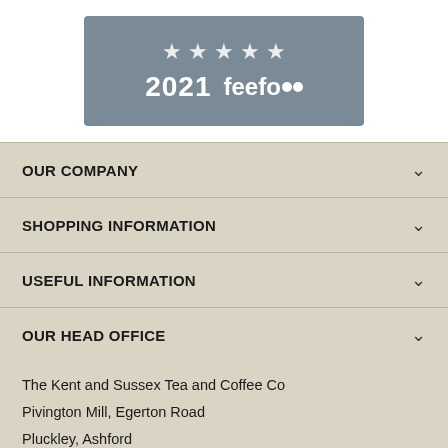[Figure (logo): Feefo 2021 Platinum Service award badge with five stars on a grey background]
OUR COMPANY
SHOPPING INFORMATION
USEFUL INFORMATION
OUR HEAD OFFICE
The Kent and Sussex Tea and Coffee Co
Pivington Mill, Egerton Road
Pluckley, Ashford
Kent, TN27 0PG

TEL: (UK) +44 (0) 1233 840 265